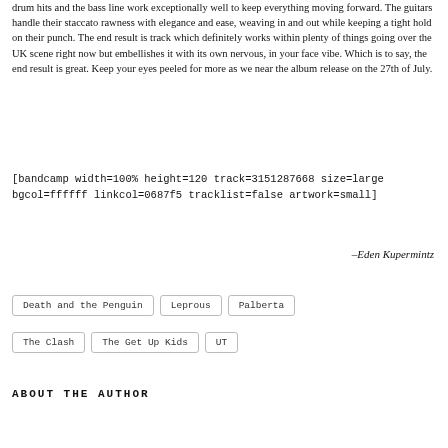drum hits and the bass line work exceptionally well to keep everything moving forward. The guitars handle their staccato rawness with elegance and ease, weaving in and out while keeping a tight hold on their punch. The end result is track which definitely works within plenty of things going over the UK scene right now but embellishes it with its own nervous, in your face vibe. Which is to say, the end result is great. Keep your eyes peeled for more as we near the album release on the 27th of July.
[bandcamp width=100% height=120 track=3151287668 size=large bgcol=ffffff linkcol=0687f5 tracklist=false artwork=small]
–Eden Kupermintz
Death and the Penguin
Leprous
Palberta
The Clash
The Get Up Kids
UT
ABOUT THE AUTHOR